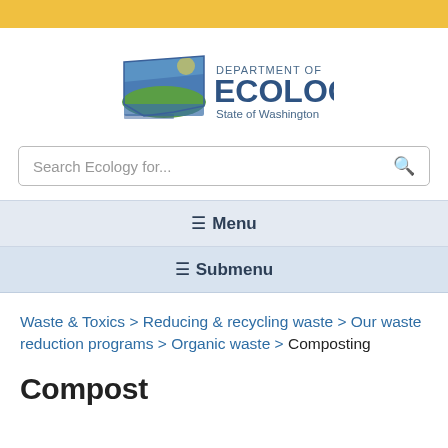Washington State Department of Ecology - gold bar header
[Figure (logo): Washington State Department of Ecology logo with state outline, sun, hills, and water in blue, green, and gold colors. Text reads DEPARTMENT OF ECOLOGY State of Washington.]
Search Ecology for...
≡ Menu
≡ Submenu
Waste & Toxics > Reducing & recycling waste > Our waste reduction programs > Organic waste > Composting
Compost